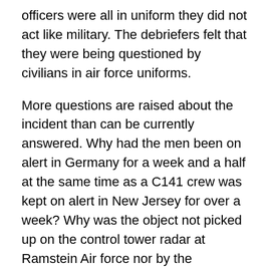officers were all in uniform they did not act like military. The debriefers felt that they were being questioned by civilians in air force uniforms.
More questions are raised about the incident than can be currently answered. Why had the men been on alert in Germany for a week and a half at the same time as a C141 crew was kept on alert in New Jersey for over a week? Why was the object not picked up on the control tower radar at Ramstein Air force nor by the Chaparral Missile launcher? Was it because both used radio frequency radar whereas the Vulcan Cannons used Doppler radar? Why would the Army and air force risk showing secret wartime defense emplacements to an incoming MIG?
What could have totally fried the IFF receiver on the